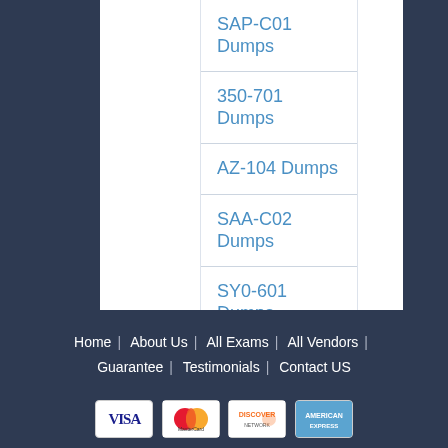SAP-C01 Dumps
350-701 Dumps
AZ-104 Dumps
SAA-C02 Dumps
SY0-601 Dumps
NCSE-Core Dumps
VMCE2021 Dumps
AZ-700 Dumps
MS-720 Dumps
Home | About Us | All Exams | All Vendors | Guarantee | Testimonials | Contact US